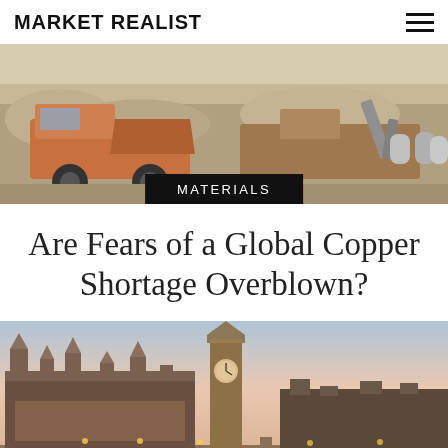MARKET REALIST
[Figure (photo): Open-pit mining scene with large haul trucks and excavation machinery against a rocky hillside backdrop]
MATERIALS
Are Fears of a Global Copper Shortage Overblown?
[Figure (photo): London skyline at sunset showing the Houses of Parliament, Big Ben clock tower, and Westminster Bridge over the River Thames]